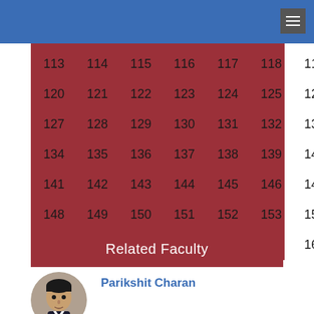| 113 | 114 | 115 | 116 | 117 | 118 | 119 |
| 120 | 121 | 122 | 123 | 124 | 125 | 126 |
| 127 | 128 | 129 | 130 | 131 | 132 | 133 |
| 134 | 135 | 136 | 137 | 138 | 139 | 140 |
| 141 | 142 | 143 | 144 | 145 | 146 | 147 |
| 148 | 149 | 150 | 151 | 152 | 153 | 154 |
| 155 | 156 | 157 | 158 | 159 | 160 | 161 |
Related Faculty
[Figure (photo): Headshot photo of Parikshit Charan, a man in a dark suit]
Parikshit Charan